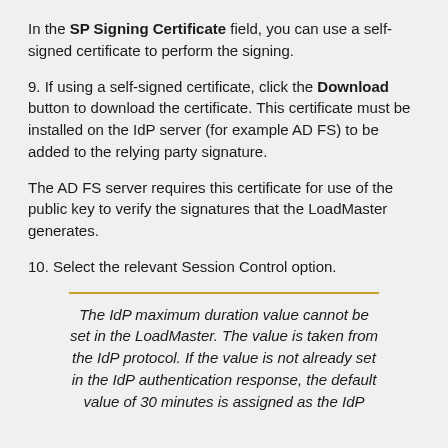In the SP Signing Certificate field, you can use a self-signed certificate to perform the signing.
9. If using a self-signed certificate, click the Download button to download the certificate. This certificate must be installed on the IdP server (for example AD FS) to be added to the relying party signature.
The AD FS server requires this certificate for use of the public key to verify the signatures that the LoadMaster generates.
10. Select the relevant Session Control option.
The IdP maximum duration value cannot be set in the LoadMaster. The value is taken from the IdP protocol. If the value is not already set in the IdP authentication response, the default value of 30 minutes is assigned as the IdP